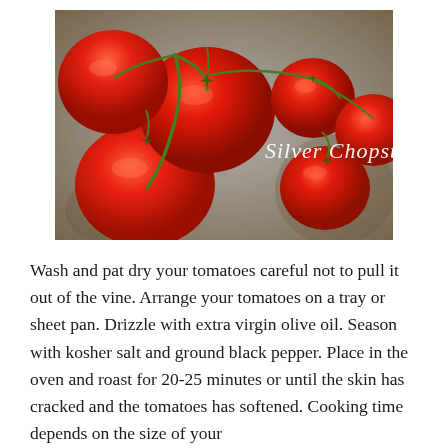[Figure (photo): Photograph of fresh red tomatoes on the vine arranged on a metal baking tray, with text 'Silver Chopstix' overlaid in white cursive script]
Wash and pat dry your tomatoes careful not to pull it out of the vine. Arrange your tomatoes on a tray or sheet pan. Drizzle with extra virgin olive oil. Season with kosher salt and ground black pepper. Place in the oven and roast for 20-25 minutes or until the skin has cracked and the tomatoes has softened. Cooking time depends on the size of your